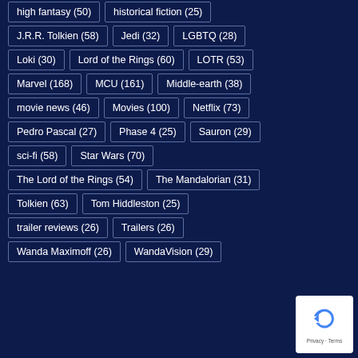high fantasy (50)
historical fiction (25)
J.R.R. Tolkien (58)
Jedi (32)
LGBTQ (28)
Loki (30)
Lord of the Rings (60)
LOTR (53)
Marvel (168)
MCU (161)
Middle-earth (38)
movie news (46)
Movies (100)
Netflix (73)
Pedro Pascal (27)
Phase 4 (25)
Sauron (29)
sci-fi (58)
Star Wars (70)
The Lord of the Rings (54)
The Mandalorian (31)
Tolkien (63)
Tom Hiddleston (25)
trailer reviews (26)
Trailers (26)
Wanda Maximoff (26)
WandaVision (29)